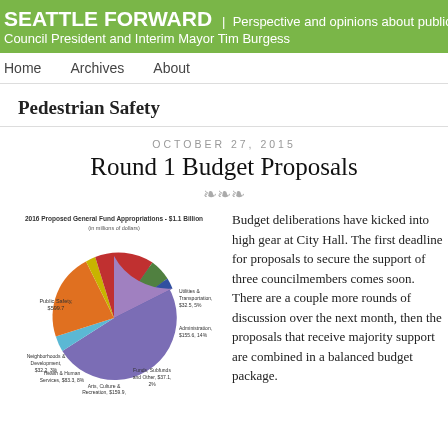SEATTLE FORWARD | Perspective and opinions about public policy from Council President and Interim Mayor Tim Burgess
Home   Archives   About
Pedestrian Safety
OCTOBER 27, 2015
Round 1 Budget Proposals
[Figure (pie-chart): 2016 Proposed General Fund Appropriations - $1.1 Billion (in millions of dollars)]
Budget deliberations have kicked into high gear at City Hall. The first deadline for proposals to secure the support of three councilmembers comes soon. There are a couple more rounds of discussion over the next month, then the proposals that receive majority support are combined in a balanced budget package.